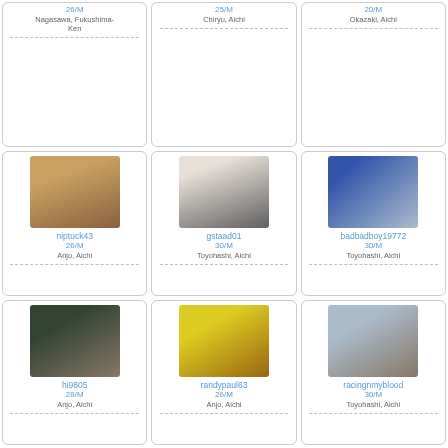26/M
Nagasawa, Fukushima-Ken
25/M
Chiryu, Aichi
20/M
Okazaki, Aichi
[Figure (photo): Profile photo of niptuck43]
niptuck43
26/M
Anjo, Aichi
[Figure (photo): Profile photo of gstaad01]
gstaad01
30/M
Toyohashi, Aichi
[Figure (photo): Profile photo of badbadboy19772]
badbadboy19772
30/M
Toyohashi, Aichi
[Figure (photo): Profile photo of hi9805]
hi9805
28/M
Anjo, Aichi
[Figure (photo): Profile photo of randypaul63]
randypaul63
26/M
[Figure (photo): Profile photo of racingnmyblood]
racingnmyblood
30/M